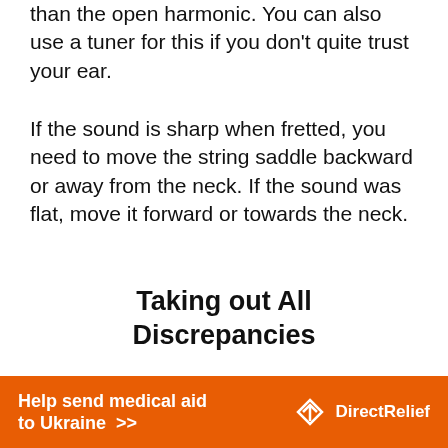than the open harmonic. You can also use a tuner for this if you don't quite trust your ear.
If the sound is sharp when fretted, you need to move the string saddle backward or away from the neck. If the sound was flat, move it forward or towards the neck.
Taking out All Discrepancies
When you have made these adjustments, you may find that your bridge is not balanced again. This can be because the strings are breaking in and stretching. Or because the adjustments affected the
[Figure (other): Orange banner advertisement: 'Help send medical aid to Ukraine >>' with Direct Relief logo]